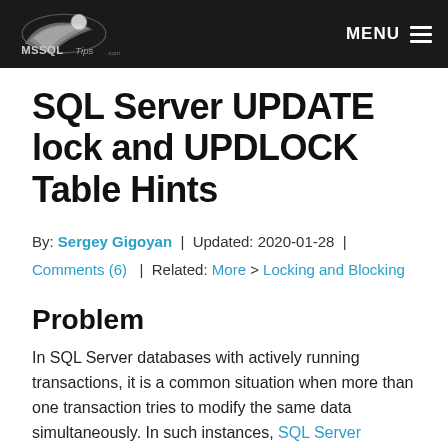MSSQLTips.com | MENU
SQL Server UPDATE lock and UPDLOCK Table Hints
By: Sergey Gigoyan | Updated: 2020-01-28 | Comments (6) | Related: More > Locking and Blocking
Problem
In SQL Server databases with actively running transactions, it is a common situation when more than one transaction tries to modify the same data simultaneously. In such instances, SQL Server deadlocks are often quite